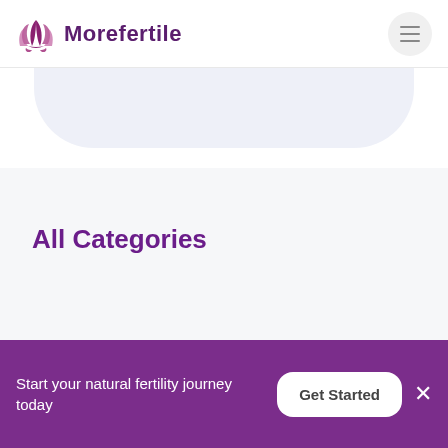Morefertile
All Categories
Start your natural fertility journey today
Get Started